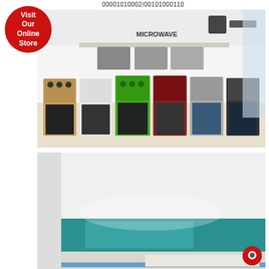00001010002/00101000110
[Figure (photo): Showroom display of multiple cooking ranges/stoves in various colors (wood, white, green, red, black, silver) with microwaves on shelves above. A red circular badge overlay reads 'Visit Our Online Store'.]
[Figure (photo): Interior of what appears to be a store counter or reception desk area, showing a teal/turquoise colored panel at the bottom and white walls/ceiling above.]